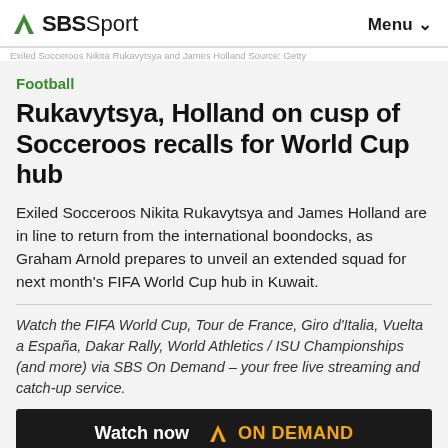SBS Sport   Menu
Exiled Socceroos Nikita Rukavytsya and James Holland Source: Getty
Football
Rukavytsya, Holland on cusp of Socceroos recalls for World Cup hub
Exiled Socceroos Nikita Rukavytsya and James Holland are in line to return from the international boondocks, as Graham Arnold prepares to unveil an extended squad for next month's FIFA World Cup hub in Kuwait.
Watch the FIFA World Cup, Tour de France, Giro d'Italia, Vuelta a España, Dakar Rally, World Athletics / ISU Championships (and more) via SBS On Demand – your free live streaming and catch-up service.
Watch now ON DEMAND